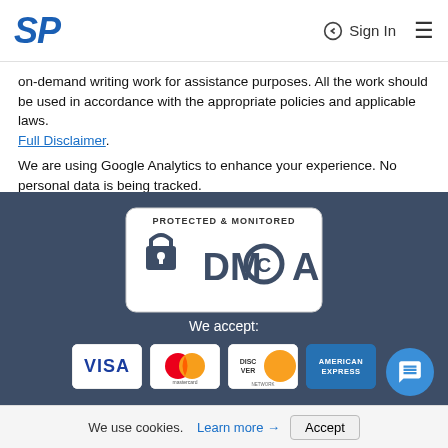SP  Sign In
on-demand writing work for assistance purposes. All the work should be used in accordance with the appropriate policies and applicable laws. Full Disclaimer. We are using Google Analytics to enhance your experience. No personal data is being tracked.
[Figure (logo): DMCA Protected & Monitored badge — white rounded rectangle with DMCA logo and padlock icon on dark blue background]
We accept:
[Figure (infographic): Payment card logos: VISA, Mastercard, Discover Network, American Express]
SpeedyPaper.com © 2022 All rights reserved
We use cookies. Learn more → Accept